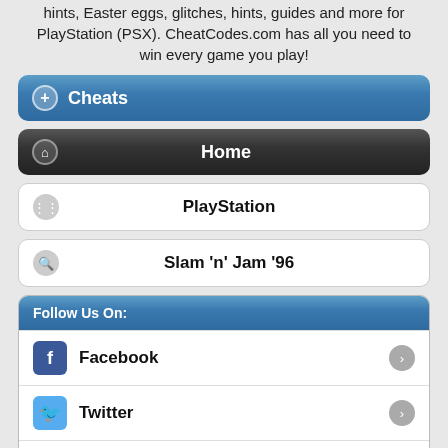hints, Easter eggs, glitches, hints, guides and more for PlayStation (PSX). CheatCodes.com has all you need to win every game you play!
Cheats
Home
PlayStation
Slam 'n' Jam '96
Follow Us On:
Facebook
Twitter
Google+